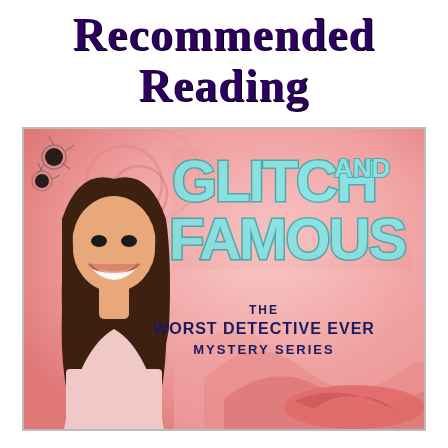Recommended Reading
[Figure (illustration): Book cover for 'Glitch and Famous' from The Worst Detective Ever Mystery Series. Shows a smiling girl with long dark hair on the left, large teal/turquoise distressed text reading 'GLITCH AND FAMOUS' in the upper right, bullet holes in the upper left corner, pink swirly background with large pink lips/wave at bottom right, subtitle reads 'THE WORST DETECTIVE EVER MYSTERY SERIES'.]